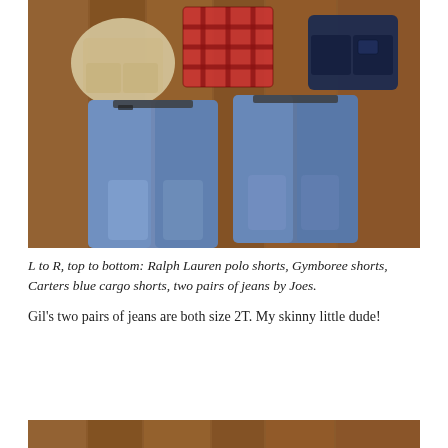[Figure (photo): Children's clothing laid flat on a wood floor: khaki shorts (top left), plaid shirt (top center), dark navy cargo shorts (top right), two pairs of blue jeans (bottom left and bottom right).]
L to R, top to bottom: Ralph Lauren polo shorts, Gymboree shorts, Carters blue cargo shorts, two pairs of jeans by Joes.
Gil's two pairs of jeans are both size 2T. My skinny little dude!
[Figure (photo): Partial view of another photo showing a wood floor background, cropped at bottom of page.]